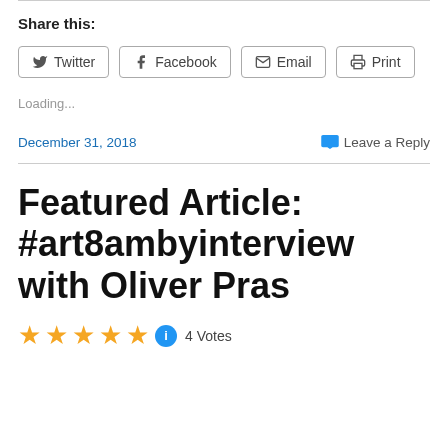Share this:
Twitter Facebook Email Print
Loading...
December 31, 2018
Leave a Reply
Featured Article: #art8ambyinterview with Oliver Pras
4 Votes